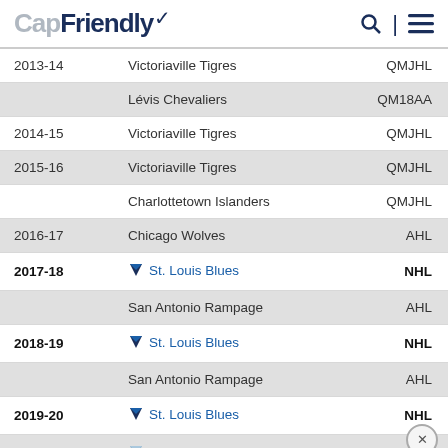CapFriendly
| Year | Team | League |
| --- | --- | --- |
| 2013-14 | Victoriaville Tigres | QMJHL |
|  | Lévis Chevaliers | QM18AA |
| 2014-15 | Victoriaville Tigres | QMJHL |
| 2015-16 | Victoriaville Tigres | QMJHL |
|  | Charlottetown Islanders | QMJHL |
| 2016-17 | Chicago Wolves | AHL |
| 2017-18 | St. Louis Blues | NHL |
|  | San Antonio Rampage | AHL |
| 2018-19 | St. Louis Blues | NHL |
|  | San Antonio Rampage | AHL |
| 2019-20 | St. Louis Blues | NHL |
| 2020-21 | St. Louis Blues | NHL |
| 2021-22 | New York Rangers | NHL |
| NHL TOTAL |  | NHL |